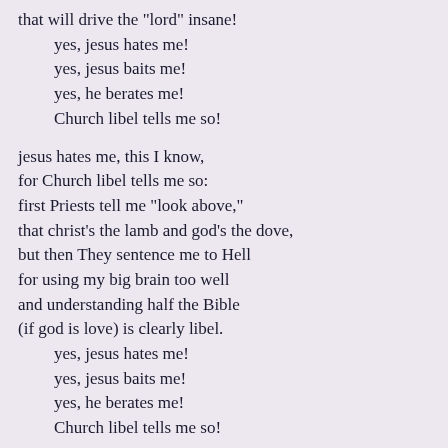that will drive the "lord" insane!
    yes, jesus hates me!
    yes, jesus baits me!
    yes, he berates me!
    Church libel tells me so!

jesus hates me, this I know,
for Church libel tells me so:
first Priests tell me "look above,"
that christ's the lamb and god's the dove,
but then They sentence me to Hell
for using my big brain too well
and understanding half the Bible
(if god is love) is clearly libel.
    yes, jesus hates me!
    yes, jesus baits me!
    yes, he berates me!
    Church libel tells me so!
The Penitent
by Edna St. Vincent Millay
I had a little Sorrow,